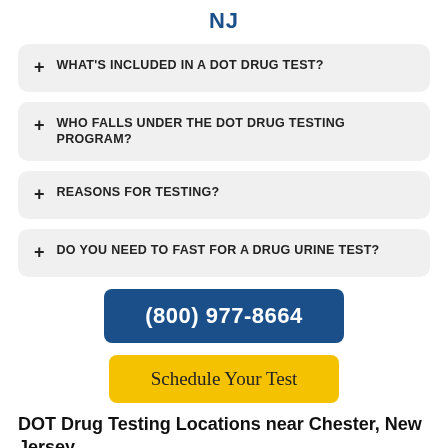NJ
+ WHAT'S INCLUDED IN A DOT DRUG TEST?
+ WHO FALLS UNDER THE DOT DRUG TESTING PROGRAM?
+ REASONS FOR TESTING?
+ DO YOU NEED TO FAST FOR A DRUG URINE TEST?
(800) 977-8664
Schedule Your Test
DOT Drug Testing Locations near Chester, New Jersey